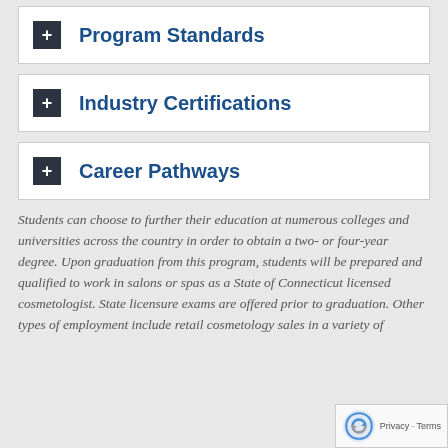+ Program Standards
+ Industry Certifications
+ Career Pathways
Students can choose to further their education at numerous colleges and universities across the country in order to obtain a two- or four-year degree. Upon graduation from this program, students will be prepared and qualified to work in salons or spas as a State of Connecticut licensed cosmetologist. State licensure exams are offered prior to graduation. Other types of employment include retail cosmetology sales in a variety of